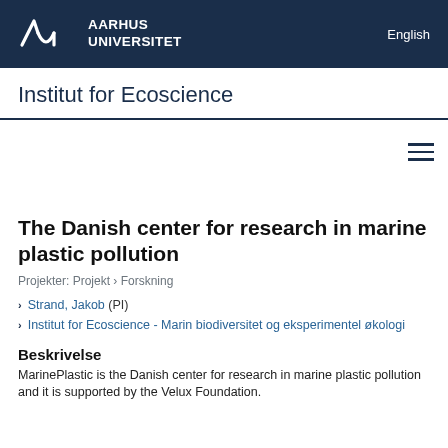AARHUS UNIVERSITET | English
Institut for Ecoscience
The Danish center for research in marine plastic pollution
Projekter: Projekt › Forskning
Strand, Jakob (PI)
Institut for Ecoscience - Marin biodiversitet og eksperimentel økologi
Beskrivelse
MarinePlastic is the Danish center for research in marine plastic pollution and it is supported by the Velux Foundation.